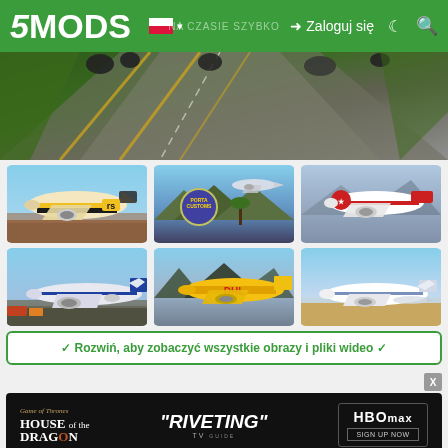5MODS – Zaloguj się
[Figure (screenshot): Aerial view of airport runway with taxiing aircraft, green grass and asphalt]
[Figure (photo): Grid of 6 airplane screenshots from GTA V mod – various airline liveries including DHL, Jetstar, and customs sign]
✓ Rozwiń, aby zobaczyć wszystkie obrazy i pliki wideo ✓
[Figure (screenshot): House of the Dragon HBO Max advertisement banner – RIVETING TV quote]